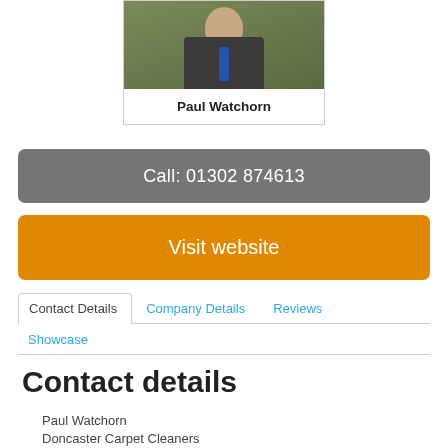[Figure (photo): Headshot photo of Paul Watchorn, a man in a dark suit with a blue tie, against a green background]
Paul Watchorn
Call: 01302 874613
Visit website
Contact Details
Company Details
Reviews
Showcase
Contact details
Paul Watchorn
Doncaster Carpet Cleaners